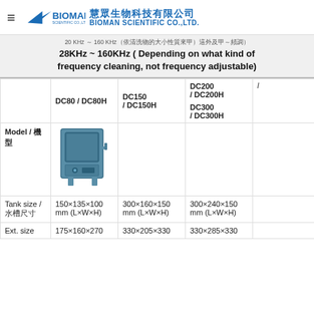BIOMAN SCIENTIFIC CO.,LTD. 慧眾生物科技有限公司 BIOMAN SCIENTIFIC CO.,LTD.
28KHz ~ 160KHz ( Depending on what kind of frequency cleaning, not frequency adjustable)
| Model / 機型 | DC80 / DC80H | DC150 / DC150H | DC200 / DC200H DC300 / DC300H |  |
| --- | --- | --- | --- | --- |
| Model / 機型 | DC80 / DC80H | DC150 / DC150H | DC200 / DC200H
DC300 / DC300H |  |
| Tank size / 水槽尺寸 | 150×135×100 mm (L×W×H) | 300×160×150 mm (L×W×H) | 300×240×150 mm (L×W×H) |  |
| Ext. size | 175×160×270 | 330×205×330 | 330×285×330 |  |